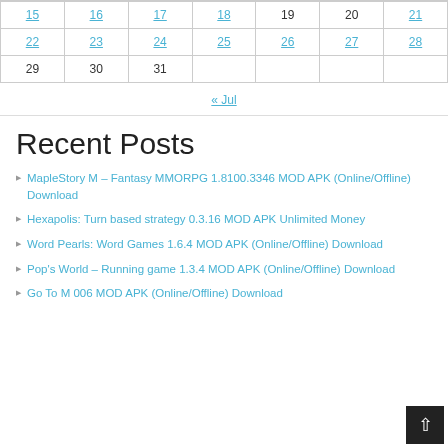| 15 | 16 | 17 | 18 | 19 | 20 | 21 |
| 22 | 23 | 24 | 25 | 26 | 27 | 28 |
| 29 | 30 | 31 |  |  |  |  |
« Jul
Recent Posts
MapleStory M – Fantasy MMORPG 1.8100.3346 MOD APK (Online/Offline) Download
Hexapolis: Turn based strategy 0.3.16 MOD APK Unlimited Money
Word Pearls: Word Games 1.6.4 MOD APK (Online/Offline) Download
Pop's World – Running game 1.3.4 MOD APK (Online/Offline) Download
Go To M 006 MOD APK (Online/Offline) Download